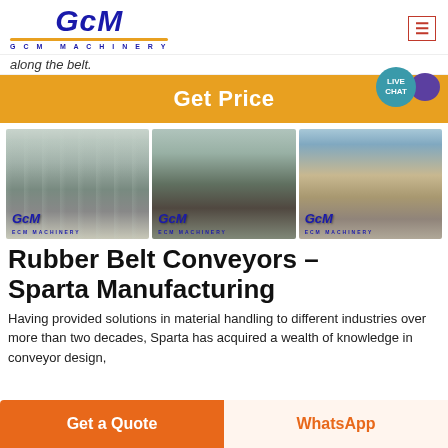GCM MACHINERY
along the belt.
Get Price
[Figure (photo): Three photos of industrial crushing/conveyor machinery: two indoor shots in factory/warehouse settings and one outdoor shot, each with GCM Machinery branding watermark]
Rubber Belt Conveyors – Sparta Manufacturing
Having provided solutions in material handling to different industries over more than two decades, Sparta has acquired a wealth of knowledge in conveyor design,
Get a Quote
WhatsApp